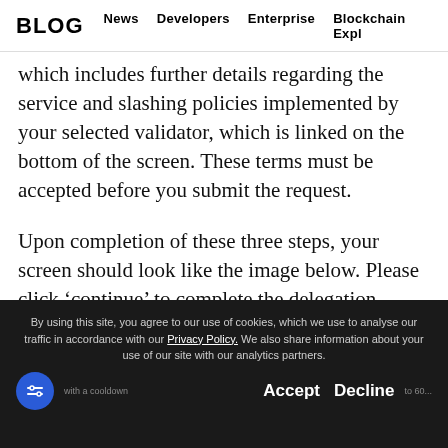BLOG  News  Developers  Enterprise  Blockchain Expl
which includes further details regarding the service and slashing policies implemented by your selected validator, which is linked on the bottom of the screen. These terms must be accepted before you submit the request.
Upon completion of these three steps, your screen should look like the image below. Please click ‘continue’ to complete the delegation process.
By using this site, you agree to our use of cookies, which we use to analyse our traffic in accordance with our Privacy Policy. We also share information about your use of our site with our analytics partners. Accept  Decline